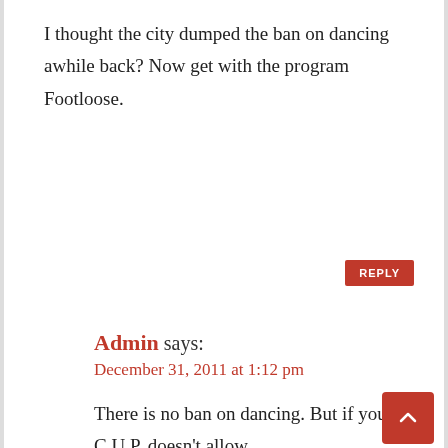I thought the city dumped the ban on dancing awhile back? Now get with the program Footloose.
REPLY
Admin says:
December 31, 2011 at 1:12 pm
There is no ban on dancing. But if your C.U.P. doesn't allow